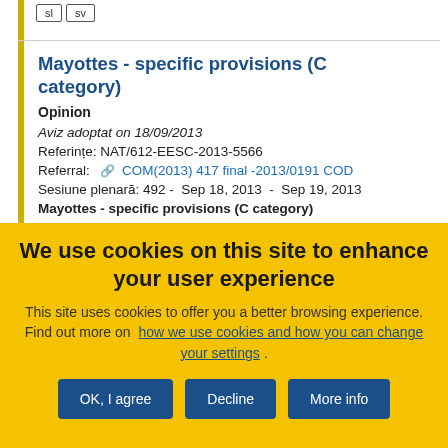sl  sv
Mayottes - specific provisions (C category)
Opinion
Aviz adoptat on 18/09/2013
Referințe: NAT/612-EESC-2013-5566
Referral: COM(2013) 417 final -2013/0191 COD
Sesiune plenară: 492 -  Sep 18, 2013  -  Sep 19, 2013
Mayottes - specific provisions (C category)
We use cookies on this site to enhance your user experience
This site uses cookies to offer you a better browsing experience. Find out more on  how we use cookies and how you can change your settings .
OK, I agree
Decline
More info